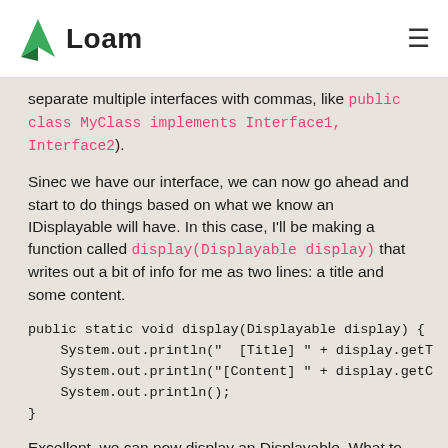Loam
separate multiple interfaces with commas, like public class MyClass implements Interface1, Interface2).
Sinec we have our interface, we can now go ahead and start to do things based on what we know an IDisplayable will have. In this case, I'll be making a function called display(Displayable display) that writes out a bit of info for me as two lines: a title and some content.
Excellent, we can now display an Displayable. What to display?